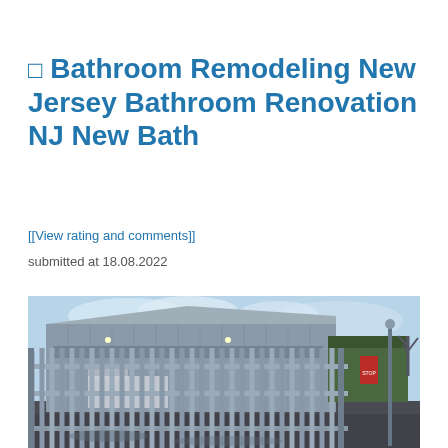🔲 Bathroom Remodeling New Jersey Bathroom Renovation NJ New Bath
[[View rating and comments]]
submitted at 18.08.2022
[Figure (photo): Exterior photo of an industrial building with a metal palisade fence/gate in the foreground, a grey corrugated steel building with a sloped roof, parked van visible through the fence, green building in background right, and cloudy sky.]